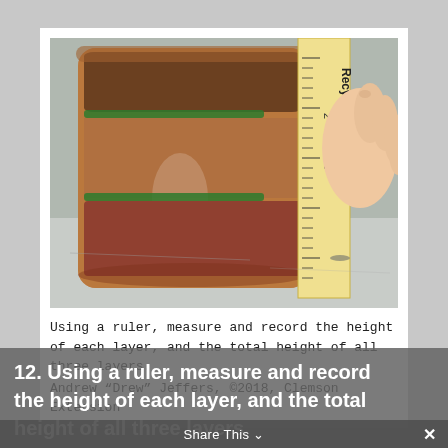[Figure (photo): A photograph of a glass jar containing layered sediment or soil, with green marker lines drawn on the jar indicating layer boundaries. A wooden ruler held by a hand is positioned next to the jar to measure the height of each layer. The jar sits on a gray surface.]
Using a ruler, measure and record the height of each layer, and the total height of all three layers.
Andrew “Drew” Jeffers, ©2018, Clemson Extension
12. Using a ruler, measure and record the height of each layer, and the total height of all three layers.